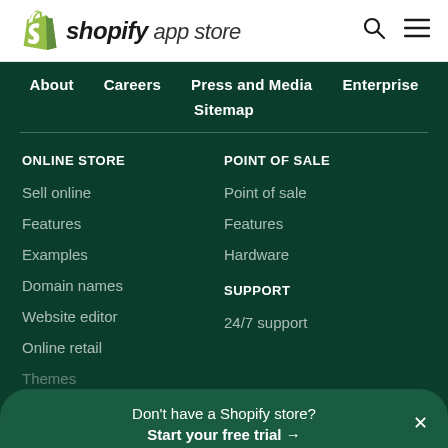[Figure (logo): Shopify App Store logo with green shopping bag icon and wordmark]
Shopify app store
About
Careers
Press and Media
Enterprise
Sitemap
ONLINE STORE
Sell online
Features
Examples
Domain names
Website editor
Online retail
Themes
POINT OF SALE
Point of sale
Features
Hardware
SUPPORT
24/7 support
Don't have a Shopify store? Start your free trial →